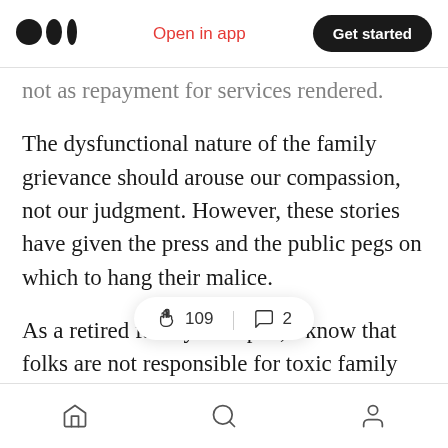Medium app header — Open in app | Get started
...not as repayment for services rendered.
The dysfunctional nature of the family grievance should arouse our compassion, not our judgment. However, these stories have given the press and the public pegs on which to hang their malice.
As a retired family therapist, I know that folks are not responsible for toxic family members but they cannot be unaffected by them. Most of us have a relative w[ho poisons] our shared [history...]
Bottom nav — Home | Search | Profile